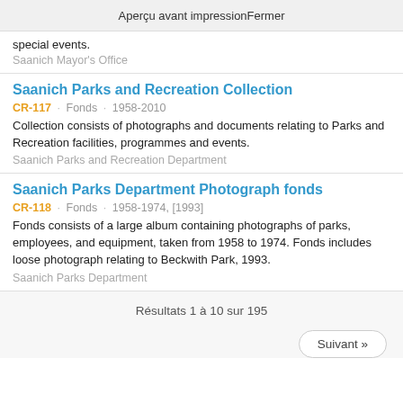Aperçu avant impression    Fermer
special events.
Saanich Mayor's Office
Saanich Parks and Recreation Collection
CR-117 · Fonds · 1958-2010
Collection consists of photographs and documents relating to Parks and Recreation facilities, programmes and events.
Saanich Parks and Recreation Department
Saanich Parks Department Photograph fonds
CR-118 · Fonds · 1958-1974, [1993]
Fonds consists of a large album containing photographs of parks, employees, and equipment, taken from 1958 to 1974. Fonds includes loose photograph relating to Beckwith Park, 1993.
Saanich Parks Department
Résultats 1 à 10 sur 195
Suivant »